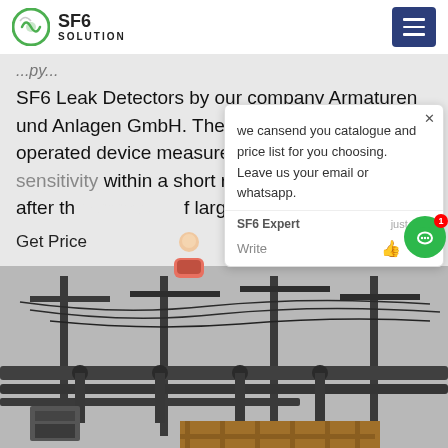SF6 SOLUTION
SF6 Leak Detectors by our company Armaturen und Anlagen GmbH. The cordless battery operated device measures in seven levels of sensitivity within a short response time. Even after the detection of large leaks the device...
Get Price
we cansend you catalogue and price list for you choosing.
Leave us your email or whatsapp.
SF6 Expert  just now
Write
[Figure (photo): Electrical substation infrastructure with pipes, cables, and equipment photographed from below against a grey sky. Industrial electrical switchgear and a wooden crate visible at bottom.]